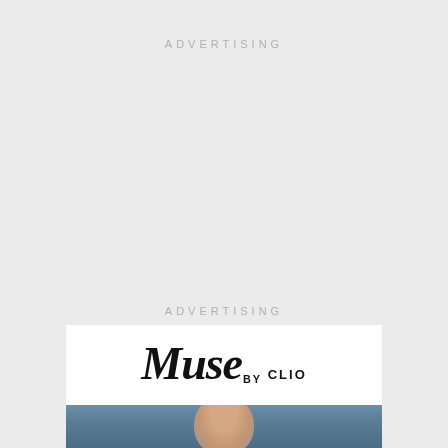ADVERTISING
ADVERTISING
[Figure (logo): Muse by CLIO logo in white box]
[Figure (photo): Partial photo of a person's head against a blue background]